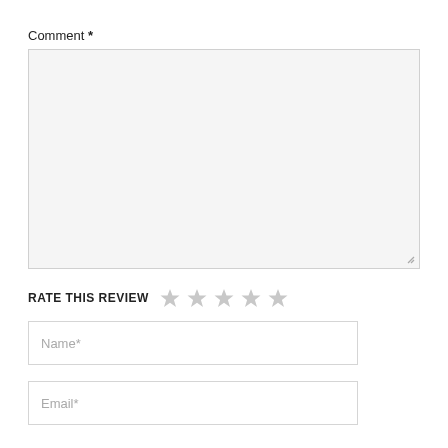Comment *
[Figure (screenshot): Empty textarea input box with light gray background and resize handle in bottom-right corner]
RATE THIS REVIEW
[Figure (other): Five empty gray star rating icons]
Name*
Email*